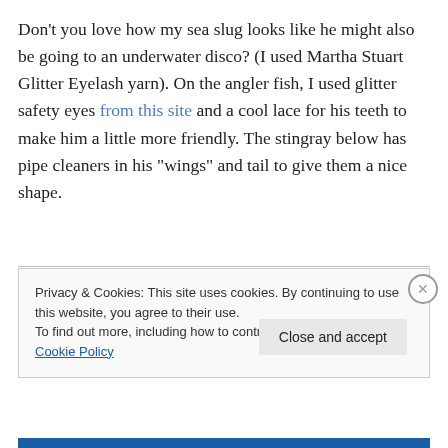Don't you love how my sea slug looks like he might also be going to an underwater disco? (I used Martha Stuart Glitter Eyelash yarn). On the angler fish, I used glitter safety eyes from this site and a cool lace for his teeth to make him a little more friendly. The stingray below has pipe cleaners in his “wings” and tail to give them a nice shape.
Privacy & Cookies: This site uses cookies. By continuing to use this website, you agree to their use. To find out more, including how to control cookies, see here: Cookie Policy